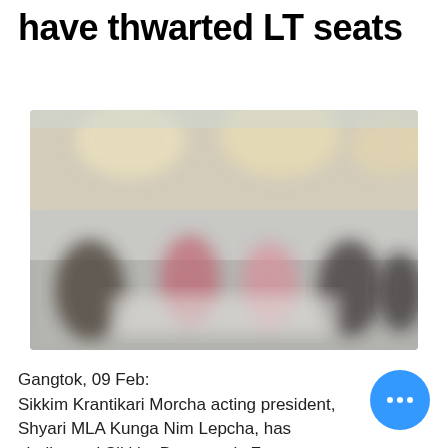have thwarted LT seats
[Figure (photo): Blurred indoor photograph showing people gathered in a room, with warm overhead lighting and colorful attire visible.]
Gangtok, 09 Feb:
Sikkim Krantikari Morcha acting president, Shyari MLA Kunga Nim Lepcha, has challenged Sikkim Democratic Front party spokesperson